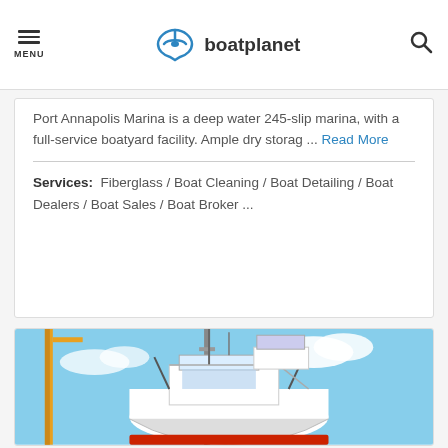MENU | boatplanet
Port Annapolis Marina is a deep water 245-slip marina, with a full-service boatyard facility. Ample dry storag ... Read More
Services: Fiberglass / Boat Cleaning / Boat Detailing / Boat Dealers / Boat Sales / Boat Broker ...
[Figure (photo): Photo of a white motorboat being lifted out of the water by a crane, against a blue sky with clouds]